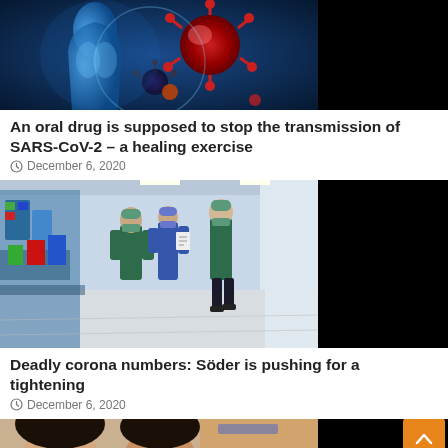[Figure (photo): Blue-toned digital illustration of a human torso with coronavirus particles floating around it, shown against a dark background. Right portion is black.]
An oral drug is supposed to stop the transmission of SARS-CoV-2 – a healing exercise
December 6, 2020
[Figure (photo): Hospital hallway scene showing medical staff in green scrubs and masks working at a busy medical equipment station. Right portion is black.]
Deadly corona numbers: Söder is pushing for a tightening
December 6, 2020
[Figure (photo): Partial view of people's faces, cropped at bottom of page. Right portion is black.]